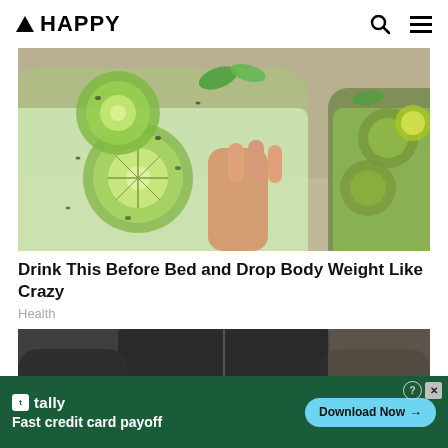▲ HAPPY
[Figure (photo): Hand holding a glass jar filled with water, cucumber slices, and chia seeds; another similar jar visible in background on a counter]
Drink This Before Bed and Drop Body Weight Like Crazy
Health
[Figure (photo): Person wearing a dark jacket, partially visible torso and hand]
[Figure (screenshot): Tally ad banner: Fast credit card payoff — Download Now button]